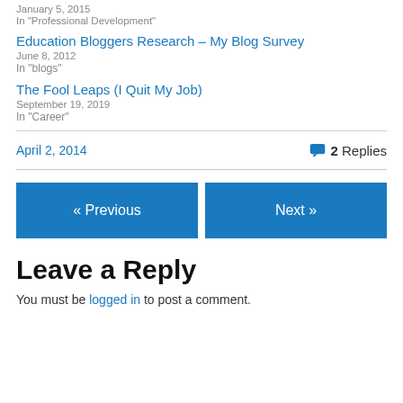January 5, 2015
In "Professional Development"
Education Bloggers Research – My Blog Survey
June 8, 2012
In "blogs"
The Fool Leaps (I Quit My Job)
September 19, 2019
In "Career"
April 2, 2014
2 Replies
« Previous
Next »
Leave a Reply
You must be logged in to post a comment.